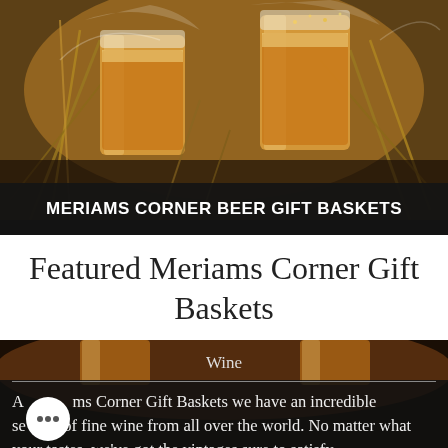[Figure (photo): Two beer glasses wrapped in cellophane with wheat/grain stalks in a rustic arrangement, warm amber tones]
MERIAMS CORNER BEER GIFT BASKETS
Featured Meriams Corner Gift Baskets
[Figure (photo): Amber beer glasses on dark background, bottom portion of page]
Wine
At Meriams Corner Gift Baskets we have an incredible selection of fine wine from all over the world. No matter what your tastes, we've got the vintages sure to satisfy.